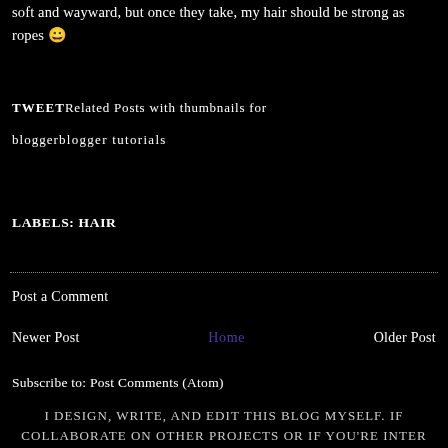soft and wayward, but once they take, my hair should be strong as ropes 😀
TWEET Related Posts with thumbnails for blogger blogger tutorials
LABELS: HAIR
Post a Comment
Newer Post    Home    Older Post
Subscribe to: Post Comments (Atom)
I DESIGN, WRITE, AND EDIT THIS BLOG MYSELF. IF COLLABORATE ON OTHER PROJECTS OR IF YOU'RE INTER